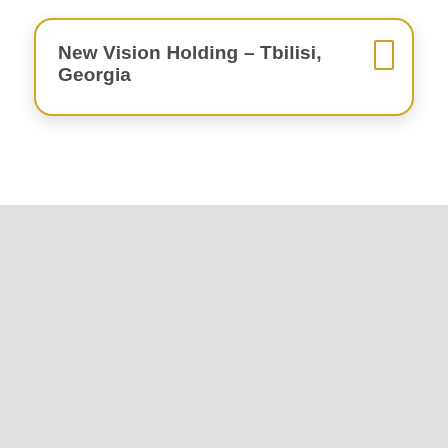New Vision Holding – Tbilisi, Georgia